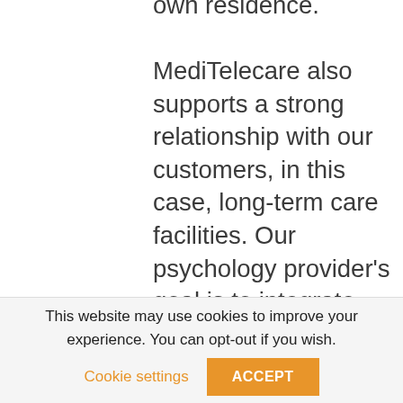own residence. MediTelecare also supports a strong relationship with our customers, in this case, long-term care facilities. Our psychology provider's goal is to integrate within the broad array of medical services that a resident in his or her facility receives. Providers collaborate frequently with administration, social services, and directors of nursing within a facility. Within MediTelecare,
This website may use cookies to improve your experience. You can opt-out if you wish. Cookie settings ACCEPT